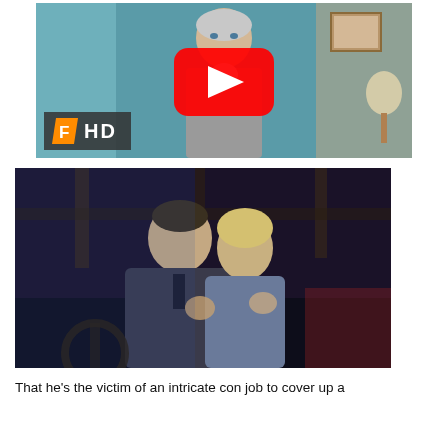[Figure (screenshot): Video thumbnail showing a woman in a gray suit against a teal background, with a YouTube play button overlay and a Fandango HD badge in the bottom left corner.]
[Figure (photo): Film still from a classic movie showing a man and a blonde woman embracing/kissing in a dark interior scene.]
That he's the victim of an intricate con job to cover up a